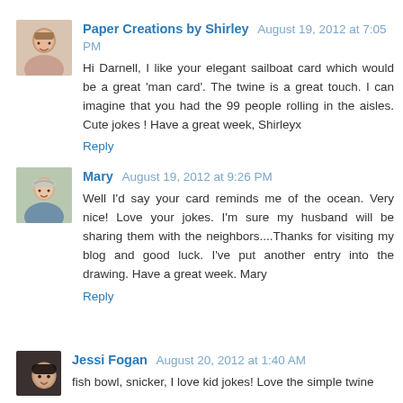Paper Creations by Shirley August 19, 2012 at 7:05 PM
Hi Darnell, I like your elegant sailboat card which would be a great 'man card'. The twine is a great touch. I can imagine that you had the 99 people rolling in the aisles. Cute jokes ! Have a great week, Shirleyx
Reply
Mary August 19, 2012 at 9:26 PM
Well I'd say your card reminds me of the ocean. Very nice! Love your jokes. I'm sure my husband will be sharing them with the neighbors....Thanks for visiting my blog and good luck. I've put another entry into the drawing. Have a great week. Mary
Reply
Jessi Fogan August 20, 2012 at 1:40 AM
fish bowl, snicker, I love kid jokes! Love the simple twine